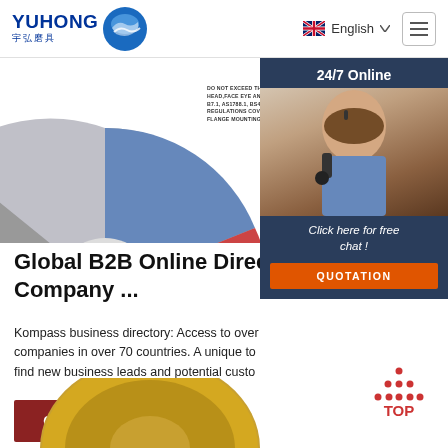YUHONG 宇弘磨具 — English — menu
[Figure (photo): Grinding/abrasive wheel product photo, top portion visible with safety label overlay]
[Figure (photo): 24/7 Online chat panel with customer service agent photo, 'Click here for free chat!' text, and QUOTATION button]
Global B2B Online Directory - Sea Company ...
Kompass business directory: Access to over companies in over 70 countries. A unique to find new business leads and potential custo
[Figure (other): Get Price button — dark red/brown rectangular button]
[Figure (other): TOP scroll-to-top button with dot pattern icon]
[Figure (photo): Gold/yellow grinding wheel product photo, bottom portion visible]